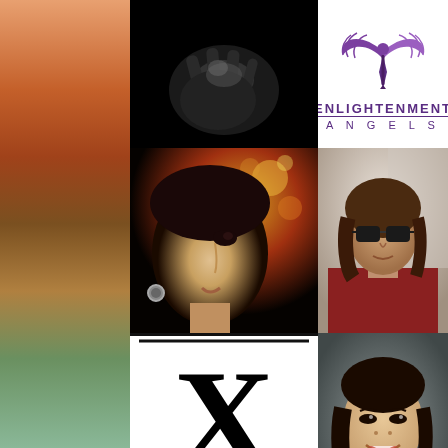[Figure (photo): Black and white close-up photograph of hands]
[Figure (logo): Enlightenment Angels logo with purple winged figure above text]
[Figure (photo): Close-up portrait of a young man looking upward with bokeh lights]
[Figure (photo): Woman wearing sunglasses and red jacket]
[Figure (logo): List of X logo with large black X and upward arrow, text LIST and OF]
[Figure (photo): Young Asian woman smiling, wearing blue strapless top]